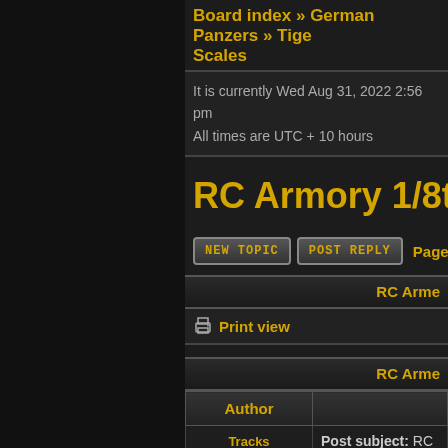Board index » German Panzers » Tige Scales
It is currently Wed Aug 31, 2022 2:56 pm
All times are UTC + 10 hours
RC Armory 1/8th Tige 1 L
New Topic   Post Reply   Page 1 of 4  [ 34 posts ]
RC Arme
Print view
RC Arme
| Author |  |
| --- | --- |
| Tracks | Post subject: RC Armory 1/8 |
| Offline
Pz III Commander | Hi all, |